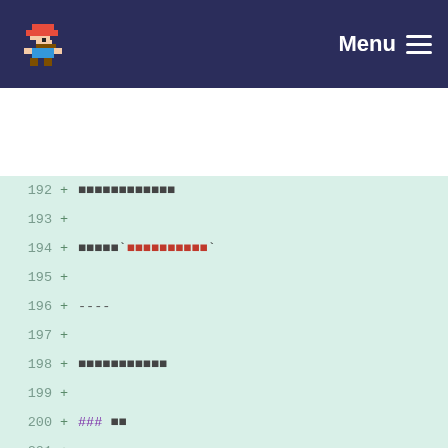Menu
[Figure (screenshot): Code diff view showing lines 192-211 of a Python file. The background is light mint green. Each line shows a line number, a '+' indicator, and code content. Lines 192-199 contain redacted/box characters and dashes. Line 200 shows '### ■■' with purple hash marks. Lines 202-206 show Python code: ```python, import matplotlib, matplotlib.use("Agg"), import numpy as np, import matplotlib.pyplot as plt. Line 208 shows 'def student():'. Line 209 shows triple quotes. Lines 210-211 show redacted docstring content in red including ':param: None'.]